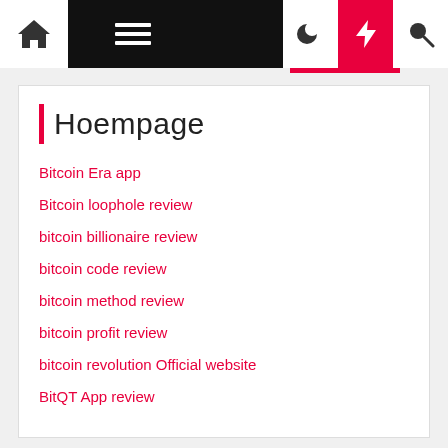Navigation bar with home, menu, moon, lightning, and search icons
Hoempage
Bitcoin Era app
Bitcoin loophole review
bitcoin billionaire review
bitcoin code review
bitcoin method review
bitcoin profit review
bitcoin revolution Official website
BitQT App review